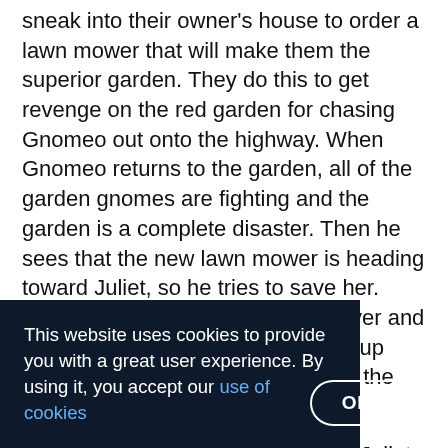sneak into their owner's house to order a lawn mower that will make them the superior garden. They do this to get revenge on the red garden for chasing Gnomeo out onto the highway. When Gnomeo returns to the garden, all of the garden gnomes are fighting and the garden is a complete disaster. Then he sees that the new lawn mower is heading toward Juliet, so he tries to save her. When he fails, they both get run over and crushed, however they do not end up breaking. Instead they survive and the feud is called off
Unlike Shakespeare's Romeo and Juliet, Kelly Asbury's version, Gnomeo and Juliet, argues that communal fulfillment is more important than individual fulfillment. This is seen from the very beginning of the movie when Juliet ... her garden. ... ion, however ... her garden ... lt, Juliet decides to go get the flower from the greenhouse. Here
This website uses cookies to provide you with a great user experience. By using it, you accept our use of cookies